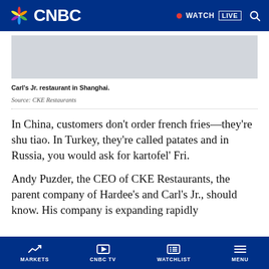CNBC — WATCH LIVE
[Figure (photo): Carl's Jr. restaurant in Shanghai — image placeholder (grey box)]
Carl's Jr. restaurant in Shanghai.
Source: CKE Restaurants
In China, customers don't order french fries—they're shu tiao. In Turkey, they're called patates and in Russia, you would ask for kartofel' Fri.
Andy Puzder, the CEO of CKE Restaurants, the parent company of Hardee's and Carl's Jr., should know. His company is expanding rapidly
MARKETS  CNBC TV  WATCHLIST  MENU